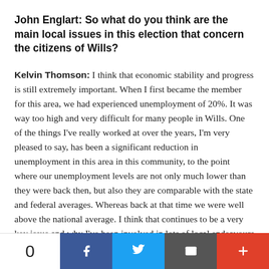John Englart: So what do you think are the main local issues in this election that concern the citizens of Wills?
Kelvin Thomson: I think that economic stability and progress is still extremely important. When I first became the member for this area, we had experienced unemployment of 20%. It was way too high and very difficult for many people in Wills. One of the things I've really worked at over the years, I'm very pleased to say, has been a significant reduction in unemployment in this area in this community, to the point where our unemployment levels are not only much lower than they were back then, but also they are comparable with the state and federal averages. Whereas back at that time we were well above the national average. I think that continues to be a very key issue and why I've been involved in lots of local endeavours in support of local manufacturing and things like